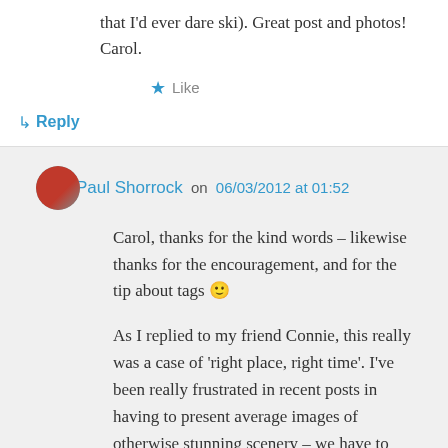that I'd ever dare ski). Great post and photos! Carol.
★ Like
↳ Reply
Paul Shorrock on 06/03/2012 at 01:52
Carol, thanks for the kind words – likewise thanks for the encouragement, and for the tip about tags 🙂
As I replied to my friend Connie, this really was a case of 'right place, right time'. I've been really frustrated in recent posts in having to present average images of otherwise stunning scenery – we have to